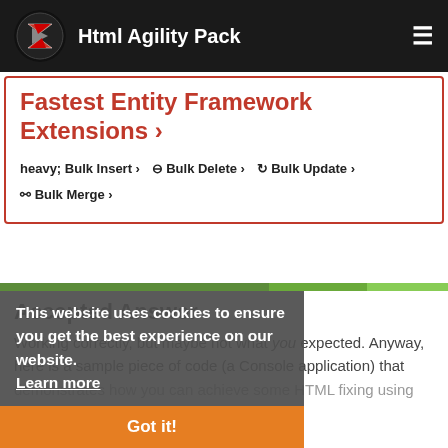Html Agility Pack
Fastest Entity Framework Extensions >
⊕ Bulk Insert > ⊖ Bulk Delete > ⟳ Bulk Update > ⎇ Bulk Merge >
Accepted Answer
This website uses cookies to ensure you get the best experience on our website. Learn more
Working correctly, but maybe not what you expected. Anyway, here is a sample piece of code (a Console application) that demonstrates how you can achieve some HTML fixing using the library.
Got it!